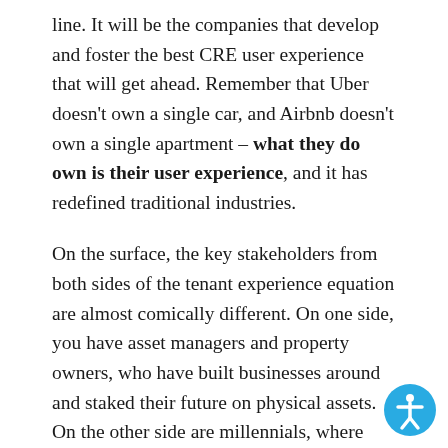line. It will be the companies that develop and foster the best CRE user experience that will get ahead. Remember that Uber doesn't own a single car, and Airbnb doesn't own a single apartment – what they do own is their user experience, and it has redefined traditional industries.
On the surface, the key stakeholders from both sides of the tenant experience equation are almost comically different. On one side, you have asset managers and property owners, who have built businesses around and staked their future on physical assets. On the other side are millennials, where 72% of the population hav